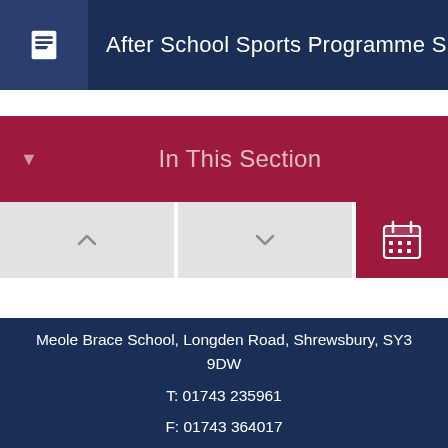After School Sports Programme S
In This Section
Meole Brace School, Longden Road, Shrewsbury, SY3 9DW
T: 01743 235961
F: 01743 364017